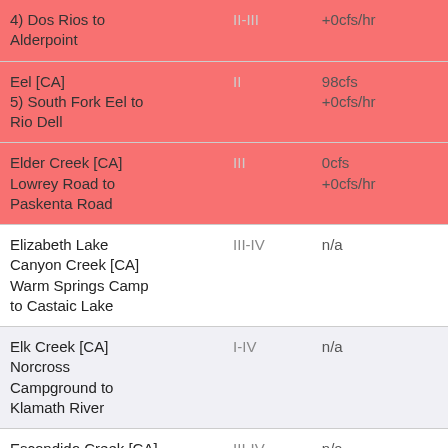| River/Section | Grade | Flow |  |
| --- | --- | --- | --- |
| 4) Dos Rios to Alderpoint | II-III | +0cfs/hr | 00 |
| Eel [CA] 5) South Fork Eel to Rio Dell | II | 98cfs +0cfs/hr | 00 |
| Elder Creek [CA] Lowrey Road to Paskenta Road | III | 0cfs +0cfs/hr | 00 |
| Elizabeth Lake Canyon Creek [CA] Warm Springs Camp to Castaic Lake | III-IV | n/a |  |
| Elk Creek [CA] Norcross Campground to Klamath River | I-IV | n/a |  |
| Escondido Creek [CA] San Elijo Canyon: Elfin Forest Preserve to Camino Del Norte ... | III-IV | n/a |  |
| Feather, Middle Fork, South Branch [CA] To confluence with Middle Fork | V | n/a |  |